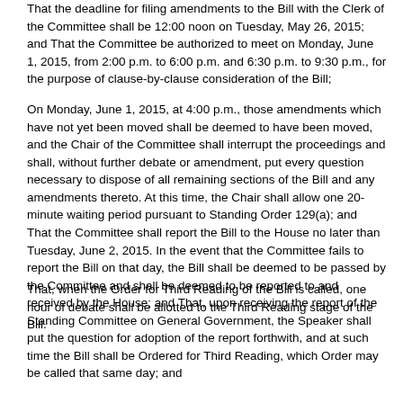That the deadline for filing amendments to the Bill with the Clerk of the Committee shall be 12:00 noon on Tuesday, May 26, 2015; and That the Committee be authorized to meet on Monday, June 1, 2015, from 2:00 p.m. to 6:00 p.m. and 6:30 p.m. to 9:30 p.m., for the purpose of clause-by-clause consideration of the Bill;
On Monday, June 1, 2015, at 4:00 p.m., those amendments which have not yet been moved shall be deemed to have been moved, and the Chair of the Committee shall interrupt the proceedings and shall, without further debate or amendment, put every question necessary to dispose of all remaining sections of the Bill and any amendments thereto. At this time, the Chair shall allow one 20-minute waiting period pursuant to Standing Order 129(a); and That the Committee shall report the Bill to the House no later than Tuesday, June 2, 2015. In the event that the Committee fails to report the Bill on that day, the Bill shall be deemed to be passed by the Committee and shall be deemed to be reported to and received by the House; and That, upon receiving the report of the Standing Committee on General Government, the Speaker shall put the question for adoption of the report forthwith, and at such time the Bill shall be Ordered for Third Reading, which Order may be called that same day; and
That, when the Order for Third Reading of the Bill is called, one hour of debate shall be allotted to the Third Reading stage of the Bill.